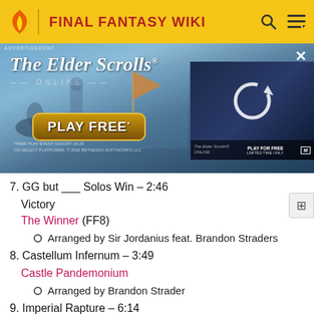FINAL FANTASY WIKI
[Figure (screenshot): The Elder Scrolls Online advertisement banner with 'PLAY FREE' button and video thumbnail with refresh icon]
7. GG but ___ Solos Win – 2:46
Victory
The Winner (FF8)
Arranged by Sir Jordanius feat. Brandon Straders
8. Castellum Infernum – 3:49
Castle Pandemonium
Arranged by Brandon Strader
9. Imperial Rapture – 6:14
Battle Theme 2